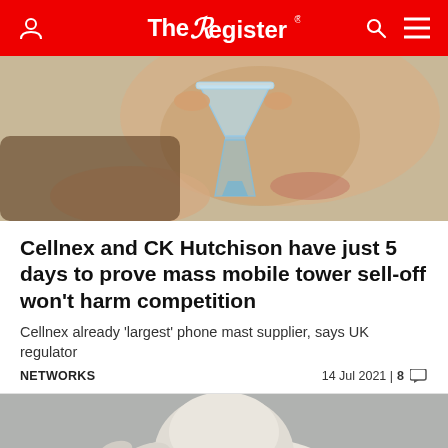The Register
[Figure (photo): Close-up of a person holding a small glass hourglass or diamond-shaped glass flask, blurred background showing lower part of face]
Cellnex and CK Hutchison have just 5 days to prove mass mobile tower sell-off won't harm competition
Cellnex already 'largest' phone mast supplier, says UK regulator
NETWORKS   14 Jul 2021 | 8
[Figure (photo): A baby seal with eyes half-closed, smiling expression, on grey background, appearing to wave or gesture with flipper]